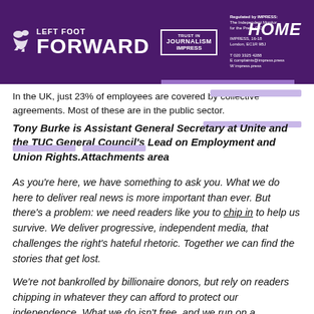LEFT FOOT FORWARD | TRUST IN JOURNALISM IMPRESS | HOME
In the UK, just 23% of employees are covered by collective agreements. Most of these are in the public sector.
Tony Burke is Assistant General Secretary at Unite and the TUC General Council's Lead on Employment and Union Rights. Attachments area
As you're here, we have something to ask you. What we do here to deliver real news is more important than ever. But there's a problem: we need readers like you to chip in to help us survive. We deliver progressive, independent media, that challenges the right's hateful rhetoric. Together we can find the stories that get lost.
We're not bankrolled by billionaire donors, but rely on readers chipping in whatever they can afford to protect our independence. What we do isn't free, and we run on a